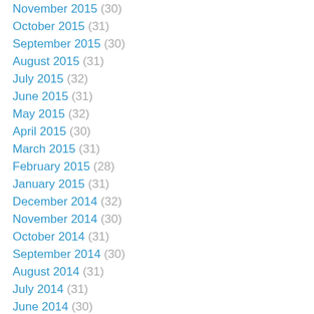November 2015 (30)
October 2015 (31)
September 2015 (30)
August 2015 (31)
July 2015 (32)
June 2015 (31)
May 2015 (32)
April 2015 (30)
March 2015 (31)
February 2015 (28)
January 2015 (31)
December 2014 (32)
November 2014 (30)
October 2014 (31)
September 2014 (30)
August 2014 (31)
July 2014 (31)
June 2014 (30)
May 2014 (31)
April 2014 (30)